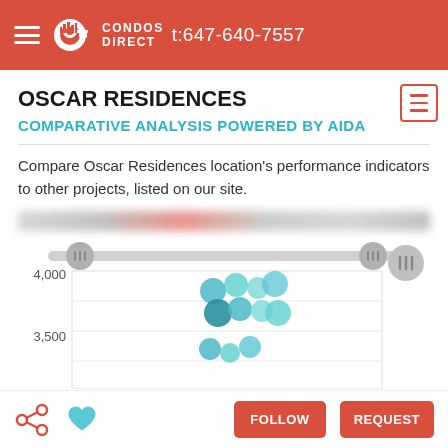Condos Direct — t:647-640-7557
OSCAR RESIDENCES
COMPARATIVE ANALYSIS POWERED BY AIDA
Compare Oscar Residences location's performance indicators to other projects, listed on our site.
[Figure (scatter-plot): Scatter plot showing price per sqft (y-axis: 3,500 to 4,000+) for various condo projects. Multiple teal/blue circular markers clustered in the 3,500-4,000 range. Two slider handles visible at top. Y-axis labels: 4,000 and 3,500.]
FOLLOW   REQUEST